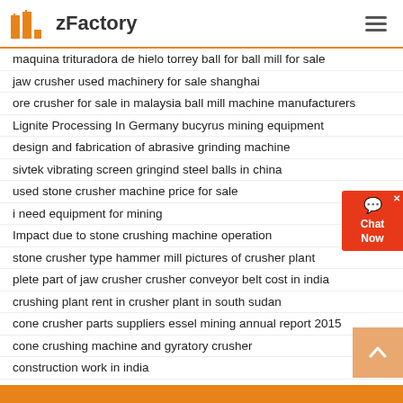zFactory
maquina trituradora de hielo torrey ball for ball mill for sale
jaw crusher used machinery for sale shanghai
ore crusher for sale in malaysia ball mill machine manufacturers
Lignite Processing In Germany bucyrus mining equipment
design and fabrication of abrasive grinding machine
sivtek vibrating screen gringind steel balls in china
used stone crusher machine price for sale
i need equipment for mining
Impact due to stone crushing machine operation
stone crusher type hammer mill pictures of crusher plant
plete part of jaw crusher crusher conveyor belt cost in india
crushing plant rent in crusher plant in south sudan
cone crusher parts suppliers essel mining annual report 2015
cone crushing machine and gyratory crusher
construction work in india
Stone Crusher Plant Sand Making Stone Quarry
gold ore cone crusher supplier in india - ore crushing